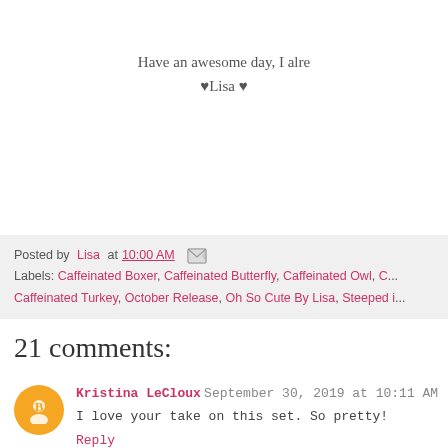Have an awesome day, I alre
♥Lisa ♥
Posted by Lisa at 10:00 AM [email icon]
Labels: Caffeinated Boxer, Caffeinated Butterfly, Caffeinated Owl, C...
Caffeinated Turkey, October Release, Oh So Cute By Lisa, Steeped i...
21 comments:
Kristina LeCloux September 30, 2019 at 10:11 AM
I love your take on this set. So pretty!
Reply